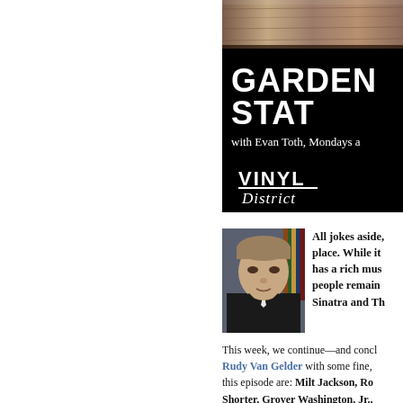[Figure (photo): Wooden surface / furniture detail photo at top right]
[Figure (illustration): Black banner with GARDEN STAT text, 'with Evan Toth, Mondays a' subtitle, and Vinyl District logo]
[Figure (photo): Headshot of a man in a dark jacket with bookshelves in background]
All jokes aside, place. While it has a rich mus people remain Sinatra and Th
This week, we continue—and concl Rudy Van Gelder with some fine, this episode are: Milt Jackson, Ro Shorter, Grover Washington, Jr., Paul Desmond, Modern Jazz Qua